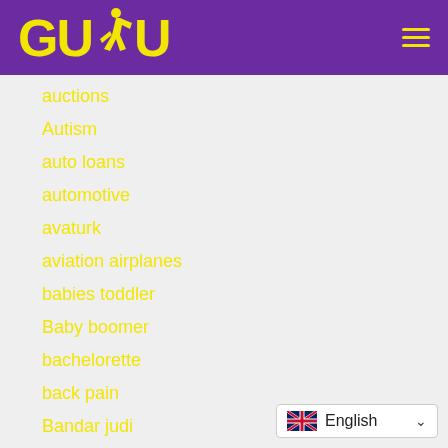[Figure (logo): GUDU logo with runner silhouette in yellow on purple background, plus hamburger menu icon]
auctions
Autism
auto loans
automotive
avaturk
aviation airplanes
babies toddler
Baby boomer
bachelorette
back pain
Bandar judi
bandar judi online
[Figure (screenshot): Language selector widget showing UK flag and 'English' with dropdown arrow]